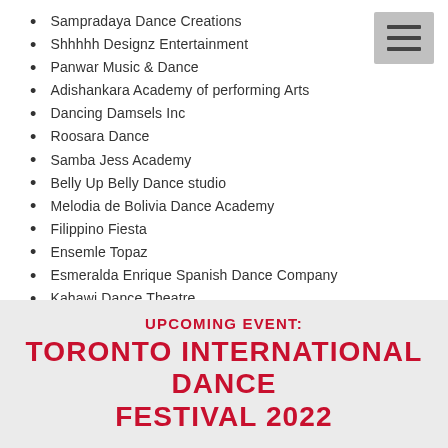Sampradaya Dance Creations
Shhhhh Designz Entertainment
Panwar Music & Dance
Adishankara Academy of performing Arts
Dancing Damsels Inc
Roosara Dance
Samba Jess Academy
Belly Up Belly Dance studio
Melodia de Bolivia Dance Academy
Filippino Fiesta
Ensemle Topaz
Esmeralda Enrique Spanish Dance Company
Kahawi Dance Theatre
and Bolivia Dance Group
UPCOMING EVENT: TORONTO INTERNATIONAL DANCE FESTIVAL 2022